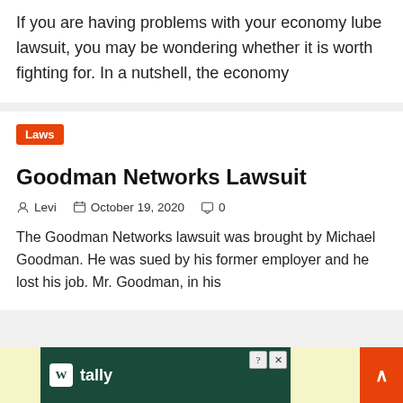If you are having problems with your economy lube lawsuit, you may be wondering whether it is worth fighting for. In a nutshell, the economy
Laws
Goodman Networks Lawsuit
Levi   October 19, 2020   0
The Goodman Networks lawsuit was brought by Michael Goodman. He was sued by his former employer and he lost his job. Mr. Goodman, in his
[Figure (other): Tally advertisement banner with dark green background showing Tally logo and brand name, with close and help buttons, on a light yellow background]